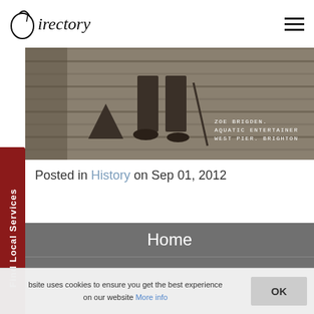Directory
[Figure (photo): Black and white photograph showing a person's legs and lower body on a wooden pier. Text overlay reads: ZOE BRIGDEN. AQUATIC ENTERTAINER WEST PIER, BRIGHTON]
Posted in History on Sep 01, 2012
Home
Advertise
This site uses cookies to ensure you get the best experience on our website More info